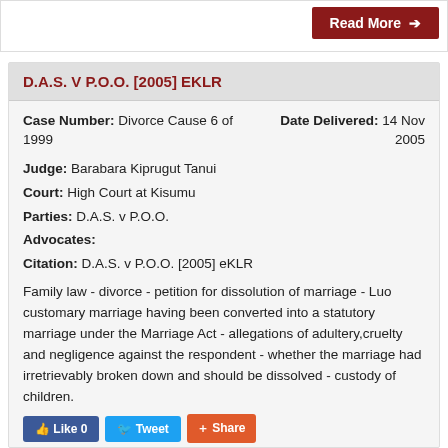Read More →
D.A.S. V P.O.O. [2005] EKLR
Case Number: Divorce Cause 6 of 1999
Date Delivered: 14 Nov 2005
Judge: Barabara Kiprugut Tanui
Court: High Court at Kisumu
Parties: D.A.S. v P.O.O.
Advocates:
Citation: D.A.S. v P.O.O. [2005] eKLR
Family law - divorce - petition for dissolution of marriage - Luo customary marriage having been converted into a statutory marriage under the Marriage Act - allegations of adultery,cruelty and negligence against the respondent - whether the marriage had irretrievably broken down and should be dissolved - custody of children.